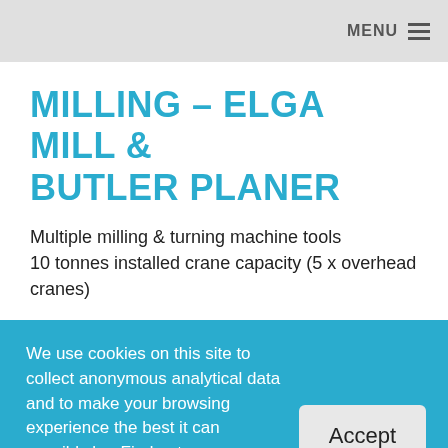MENU
MILLING – ELGA MILL & BUTLER PLANER
Multiple milling & turning machine tools
10 tonnes installed crane capacity (5 x overhead cranes)
We use cookies on this site to collect anonymous analytical data and to make your browsing experience the best it can possibly be. Find out more on our 'Cookie Policy' page.